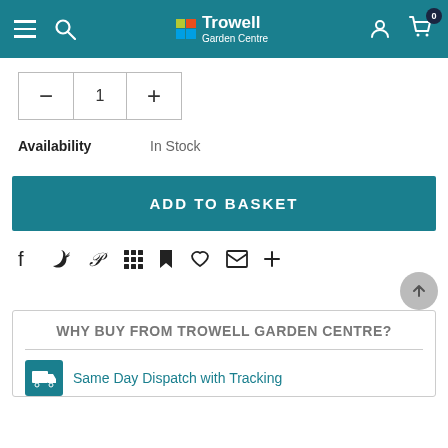Trowell Garden Centre
Availability   In Stock
ADD TO BASKET
[Figure (other): Social sharing icons row: Facebook, Twitter, Pinterest, Grid, Bookmark, Heart, Email, Plus]
WHY BUY FROM TROWELL GARDEN CENTRE?
Same Day Dispatch with Tracking